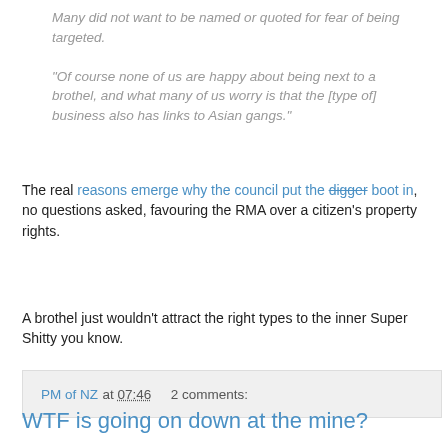Many did not want to be named or quoted for fear of being targeted.
"Of course none of us are happy about being next to a brothel, and what many of us worry is that the [type of] business also has links to Asian gangs."
The real reasons emerge why the council put the digger boot in, no questions asked, favouring the RMA over a citizen's property rights.
A brothel just wouldn't attract the right types to the inner Super Shitty you know.
PM of NZ at 07:46    2 comments:
WTF is going on down at the mine?